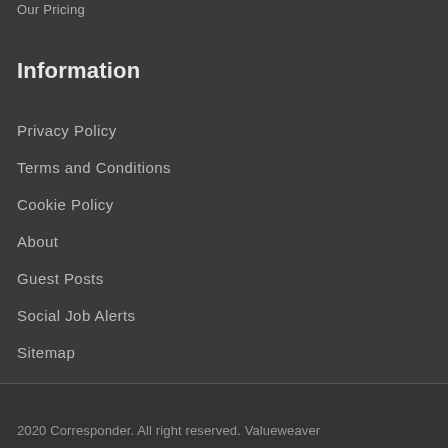Our Pricing
Information
Privacy Policy
Terms and Conditions
Cookie Policy
About
Guest Posts
Social Job Alerts
Sitemap
Job Seekers
2020 Corresponder. All right reserved. Valueweaver